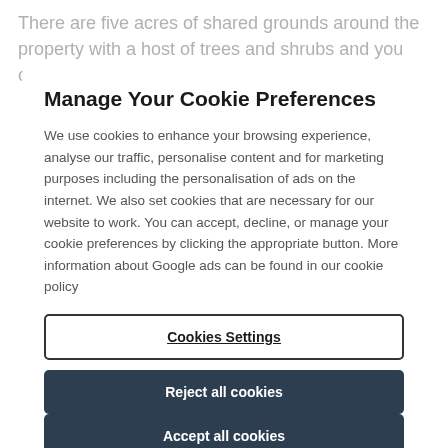There are five acres of shared grounds around the property with a host of trees and shrubs and you can
Manage Your Cookie Preferences
We use cookies to enhance your browsing experience, analyse our traffic, personalise content and for marketing purposes including the personalisation of ads on the internet. We also set cookies that are necessary for our website to work. You can accept, decline, or manage your cookie preferences by clicking the appropriate button. More information about Google ads can be found in our cookie policy
Cookies Settings
Reject all cookies
Accept all cookies